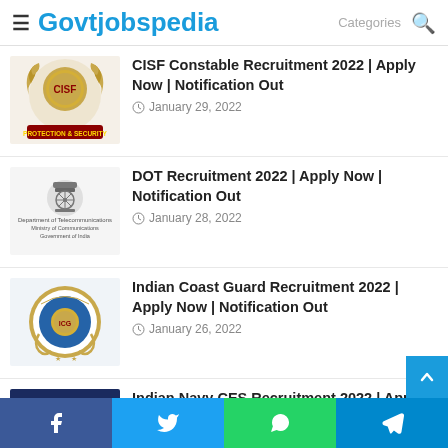Govtjobspedia
CISF Constable Recruitment 2022 | Apply Now | Notification Out — January 29, 2022
DOT Recruitment 2022 | Apply Now | Notification Out — January 28, 2022
Indian Coast Guard Recruitment 2022 | Apply Now | Notification Out — January 26, 2022
Indian Navy CES Recruitment 2022 | Apply Now | Notification Out